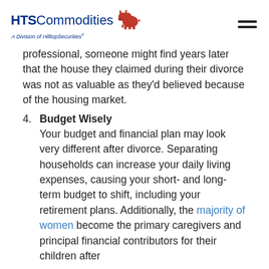HTS Commodities — A Division of HilltopSecurities
professional, someone might find years later that the house they claimed during their divorce was not as valuable as they'd believed because of the housing market.
4. Budget Wisely
Your budget and financial plan may look very different after divorce. Separating households can increase your daily living expenses, causing your short- and long-term budget to shift, including your retirement plans. Additionally, the majority of women become the primary caregivers and principal financial contributors for their children after